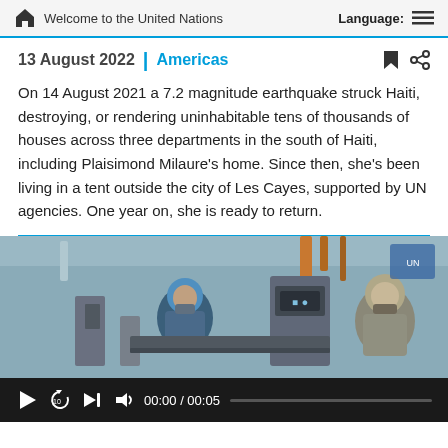Welcome to the United Nations
13 August 2022 | Americas
On 14 August 2021 a 7.2 magnitude earthquake struck Haiti, destroying, or rendering uninhabitable tens of thousands of houses across three departments in the south of Haiti, including Plaisimond Milaure's home. Since then, she's been living in a tent outside the city of Les Cayes, supported by UN agencies. One year on, she is ready to return.
[Figure (photo): Workers in a food processing or industrial facility, wearing protective gear including hairnets, working with machinery. Video player controls visible at bottom showing 00:00 / 00:05.]